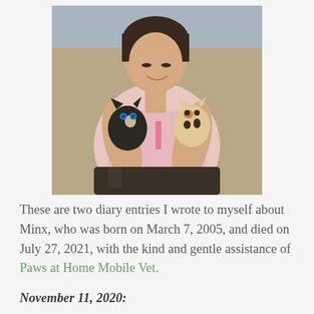[Figure (photo): A woman sitting down holding two small kittens — one dark (black and tan) with blue eyes on the left, and one calico on the right. She is wearing a pink tank top and smiling down at the cats.]
These are two diary entries I wrote to myself about Minx, who was born on March 7, 2005, and died on July 27, 2021, with the kind and gentle assistance of Paws at Home Mobile Vet.
November 11, 2020: